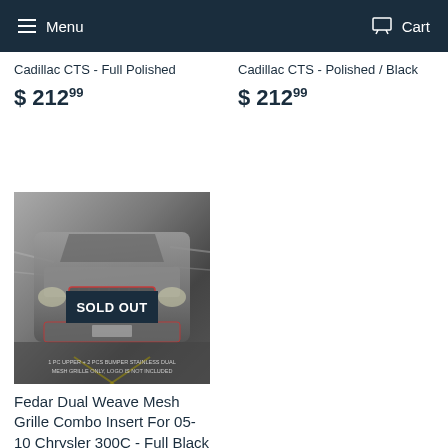Menu  Cart
Cadillac CTS - Full Polished
$ 212.99
Cadillac CTS - Polished / Black
$ 212.99
[Figure (photo): Front grille view of a Chrysler 300C car with a SOLD OUT badge overlay. Text at bottom reads: 1 PC UPPER + 2 PCS BUMPER STAINLESS DUAL MESH GRILLE ONLY, LOGO IS NOT INCLUDED]
Fedar Dual Weave Mesh Grille Combo Insert For 05-10 Chrysler 300C - Full Black